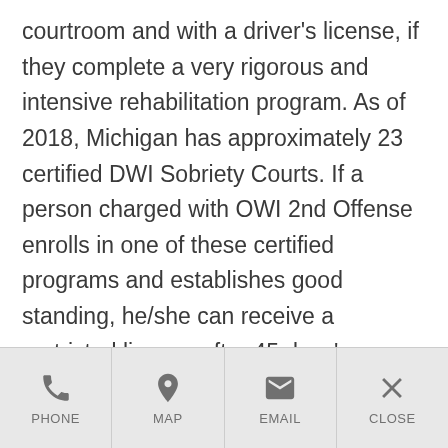courtroom and with a driver's license, if they complete a very rigorous and intensive rehabilitation program. As of 2018, Michigan has approximately 23 certified DWI Sobriety Courts. If a person charged with OWI 2nd Offense enrolls in one of these certified programs and establishes good standing, he/she can receive a restricted license after 45 days' suspension rather than suffering a mandatory 1-year revocation.
PHONE | MAP | EMAIL | CLOSE